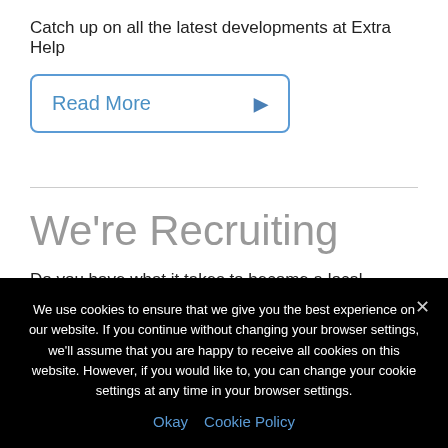Catch up on all the latest developments at Extra Help
Read More ▶
We're Recruiting
Do you have what it takes to become a local branch owner?
We use cookies to ensure that we give you the best experience on our website. If you continue without changing your browser settings, we'll assume that you are happy to receive all cookies on this website. However, if you would like to, you can change your cookie settings at any time in your browser settings.
Okay  Cookie Policy